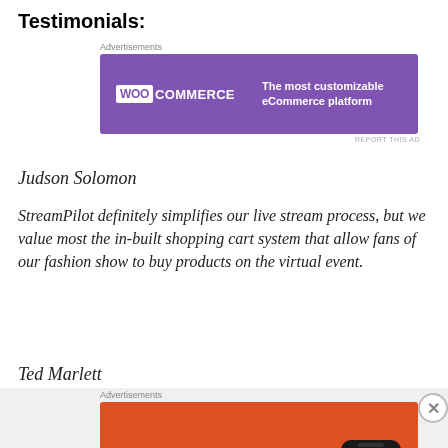Testimonials:
[Figure (other): WooCommerce advertisement banner: purple background with WooCommerce logo on left and text 'The most customizable eCommerce platform' on right]
Judson Solomon
StreamPilot definitely simplifies our live stream process, but we value most the in-built shopping cart system that allow fans of our fashion show to buy products on the virtual event.
Ted Marlett
[Figure (other): DuckDuckGo advertisement banner: orange/red background with text 'Search, browse, and email with more privacy. All in One Free App' and phone image with DuckDuckGo logo]